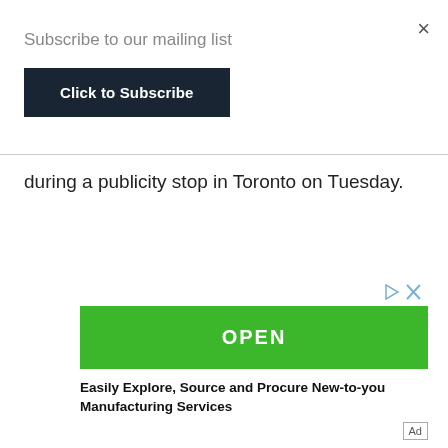×
Subscribe to our mailing list
[Figure (other): Dark navy blue button labeled 'Click to Subscribe']
during a publicity stop in Toronto on Tuesday.
[Figure (other): Advertisement: green OPEN button with ad controls, caption reading 'Easily Explore, Source and Procure New-to-you Manufacturing Services', with 'Ad' label]
Easily Explore, Source and Procure New-to-you Manufacturing Services